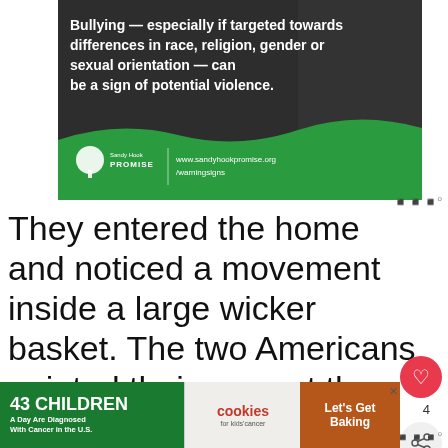[Figure (infographic): Sandy Hook Promise advertisement showing anti-bullying message with text 'Bullying — especially if targeted towards differences in race, religion, gender or sexual orientation — can be a sign of potential violence.' with Sandy Hook Promise logo and website www.sandyhookpromise.org/warningsigns]
They entered the home and noticed a movement inside a large wicker basket. The two Americans pointed their guns at the basket and prepared to shoot, thinking it was an enemy soldier in hiding.
[Figure (infographic): Advertisement: '43 CHILDREN A Day Are Diagnosed With Cancer in the U.S.' with cookies for kids cancer and Let's Get Baking logos]